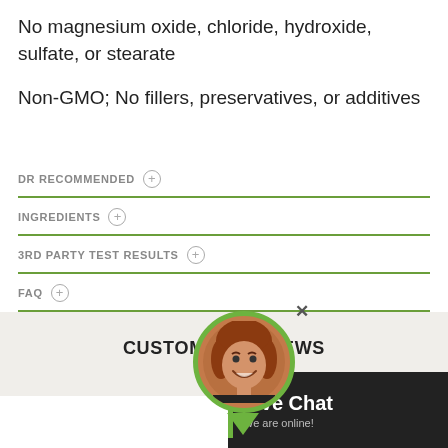No magnesium oxide, chloride, hydroxide, sulfate, or stearate
Non-GMO; No fillers, preservatives, or additives
DR RECOMMENDED
INGREDIENTS
3RD PARTY TEST RESULTS
FAQ
CUSTOMER REVIEWS
[Figure (photo): Live chat widget with a smiling woman with red hair in a circular green-bordered avatar, a downward triangle pointer, a close X button, and a dark bar at the bottom reading 'Live Chat - We are online!']